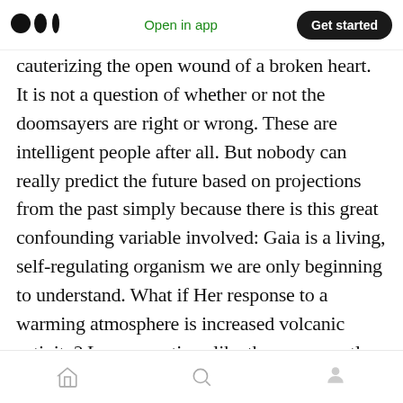Medium app header — logo, Open in app, Get started
cauterizing the open wound of a broken heart. It is not a question of whether or not the doomsayers are right or wrong. These are intelligent people after all. But nobody can really predict the future based on projections from the past simply because there is this great confounding variable involved: Gaia is a living, self-regulating organism we are only beginning to understand. What if Her response to a warming atmosphere is increased volcanic activity? Large eruptions like the one recently observed in the Pacific ocean have a cooling effect on the climate, due to the amount of ash
Bottom navigation bar: Home, Search, Profile